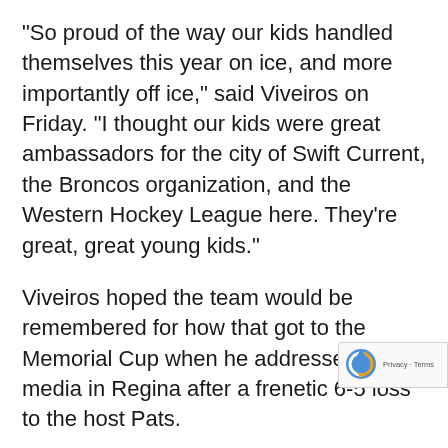“So proud of the way our kids handled themselves this year on ice, and more importantly off ice,” said Viveiros on Friday. “I thought our kids were great ambassadors for the city of Swift Current, the Broncos organization, and the Western Hockey League here. They’re great, great young kids.”
Viveiros hoped the team would be remembered for how that got to the Memorial Cup when he addressed the media in Regina after a frenetic 6-5 loss to the host Pats.
“Certainly what we accomplished before here, this road that we had to take to get here, 26 playoff games, a triple overtime, a double, and three si overtimes just to get here, we were telling our kids